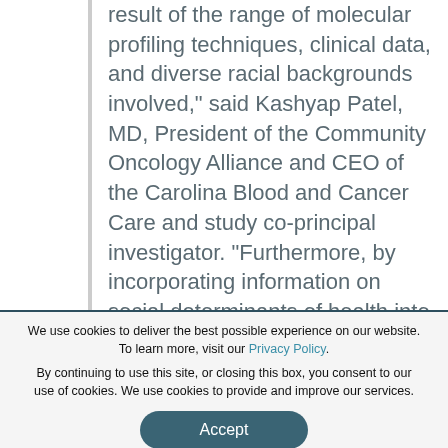result of the range of molecular profiling techniques, clinical data, and diverse racial backgrounds involved," said Kashyap Patel, MD, President of the Community Oncology Alliance and CEO of the Carolina Blood and Cancer Care and study co-principal investigator. "Furthermore, by incorporating information on social determinants of health into our dataset, we have the opportunity to better understand the role of social support, education, housing, and other
We use cookies to deliver the best possible experience on our website. To learn more, visit our Privacy Policy.
By continuing to use this site, or closing this box, you consent to our use of cookies. We use cookies to provide and improve our services.
Accept